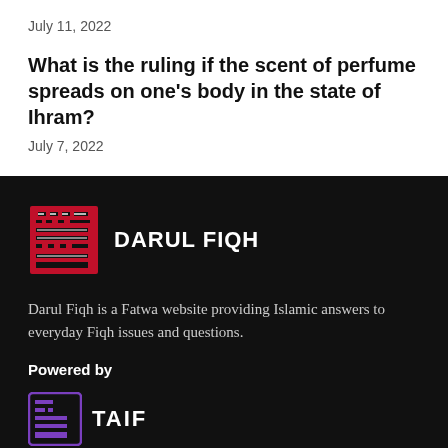July 11, 2022
What is the ruling if the scent of perfume spreads on one's body in the state of Ihram?
July 7, 2022
[Figure (logo): Darul Fiqh logo with Arabic calligraphy in red and the text DARUL FIQH in white]
Darul Fiqh is a Fatwa website providing Islamic answers to everyday Fiqh issues and questions.
Powered by
[Figure (logo): TAIF logo with purple square icon containing Arabic/stylized text and TAIF in white letters]